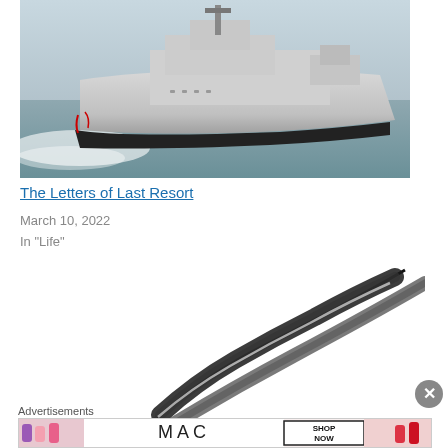[Figure (photo): Aerial view of a grey Royal Navy destroyer warship sailing at speed on calm grey-green water, with white wake, and red markings on the bow.]
The Letters of Last Resort
March 10, 2022
In "Life"
[Figure (illustration): Black and white feather quill illustration on white background, dramatic stylized feathers pointing diagonally.]
Advertisements
[Figure (photo): MAC cosmetics advertisement banner showing colourful lipsticks and a SHOP NOW box.]